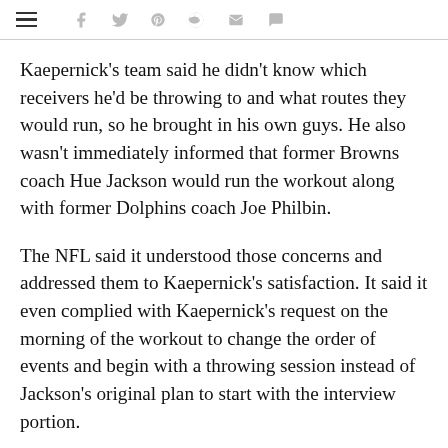share icons bar
Kaepernick’s team said he didn’t know which receivers he’d be throwing to and what routes they would run, so he brought in his own guys. He also wasn’t immediately informed that former Browns coach Hue Jackson would run the workout along with former Dolphins coach Joe Philbin.
The NFL said it understood those concerns and addressed them to Kaepernick’s satisfaction. It said it even complied with Kaepernick’s request on the morning of the workout to change the order of events and begin with a throwing session instead of Jackson's original plan to start with the interview portion.